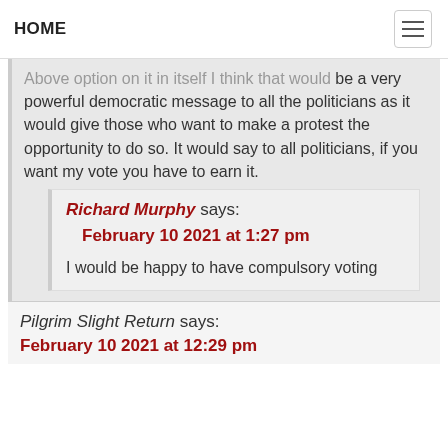HOME
Above option on it in itself I think that would be a very powerful democratic message to all the politicians as it would give those who want to make a protest the opportunity to do so. It would say to all politicians, if you want my vote you have to earn it.
Richard Murphy says:
February 10 2021 at 1:27 pm
I would be happy to have compulsory voting
Pilgrim Slight Return says:
February 10 2021 at 12:29 pm